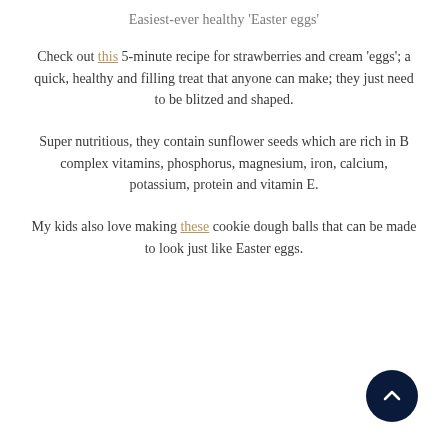Easiest-ever healthy 'Easter eggs'
Check out this 5-minute recipe for strawberries and cream 'eggs'; a quick, healthy and filling treat that anyone can make; they just need to be blitzed and shaped.
Super nutritious, they contain sunflower seeds which are rich in B complex vitamins, phosphorus, magnesium, iron, calcium, potassium, protein and vitamin E.
My kids also love making these cookie dough balls that can be made to look just like Easter eggs.